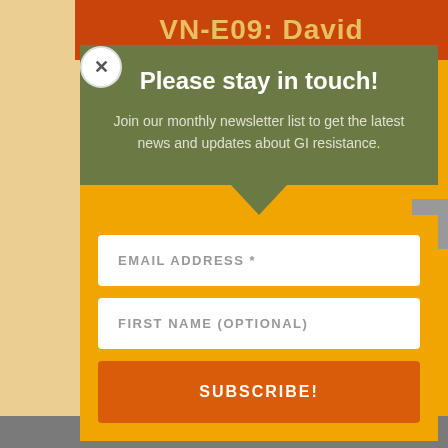VN-E09: David
Please stay in touch!
Join our monthly newsletter list to get the latest news and updates about GI resistance.
EMAIL ADDRESS *
FIRST NAME (OPTIONAL)
SUBSCRIBE!
Don't miss our action alerts to support wa...
Share This